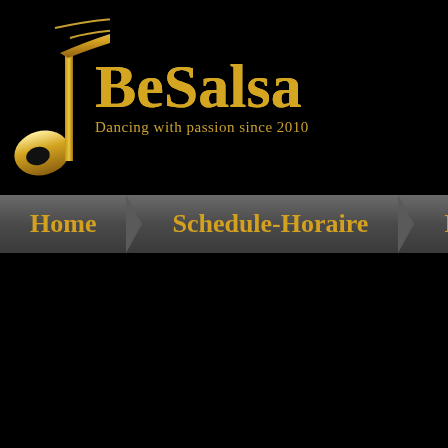[Figure (logo): BeSalsa dance school logo with golden musical note symbol and text 'BeSalsa' with tagline 'Dancing with passion since 2010' on black background]
Home  Schedule-Horaire  Prices-Ta